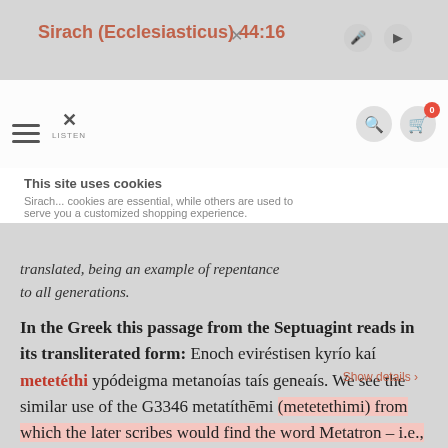Sirach (Ecclesiasticus) 44:16
translated, being an example of repentance to all generations.
This site uses cookies
Sirach... cookies are essential, while others are used to serve you a customized shopping experience.
In the Greek this passage from the Septuagint reads in its transliterated form: Enoch eviréstisen kyrío kaí metetéthi ypódeigma metanoías taís geneaís. We see the similar use of the G3346 metatíthēmi (metetethimi) from which the later scribes would find the word Metatron – i.e., he who was translated. Such an understanding is consistent with the first witness from Cepher Sirach and the second witness from Cepher Ivriym, and the conclusions of Mosheh in
Show details